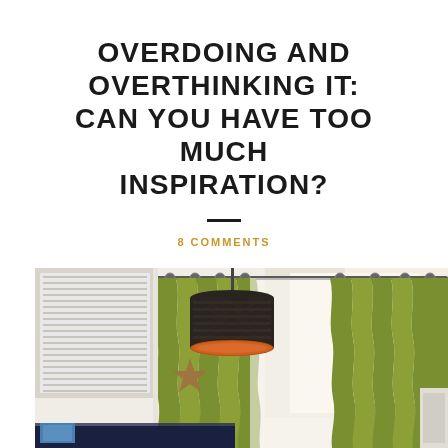OVERDOING AND OVERTHINKING IT: CAN YOU HAVE TOO MUCH INSPIRATION?
8 COMMENTS
[Figure (photo): Interior room photo showing green curtains hanging on a rod, a dark patterned drum lampshade with orange interior hanging from ceiling, a white window with blinds on the left, a wooden star decoration on the wall, and the top of a navy blue sofa visible at the bottom.]